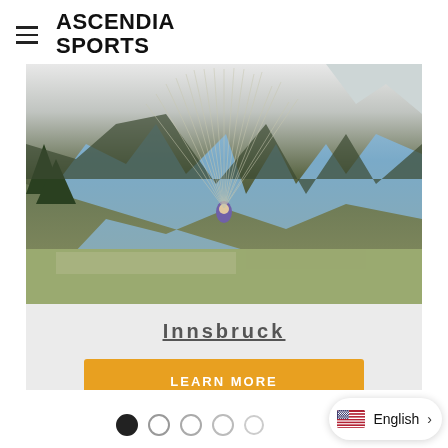ASCENDIA SPORTS
[Figure (photo): Paraglider flying over Innsbruck valley with alpine mountains in background, aerial view showing town below and dramatic rocky peaks.]
Innsbruck
LEARN MORE
[Figure (infographic): Slide navigation dots (5 visible) with first dot active/filled black, rest empty circles. Language selector pill showing US flag and English with right arrow chevron.]